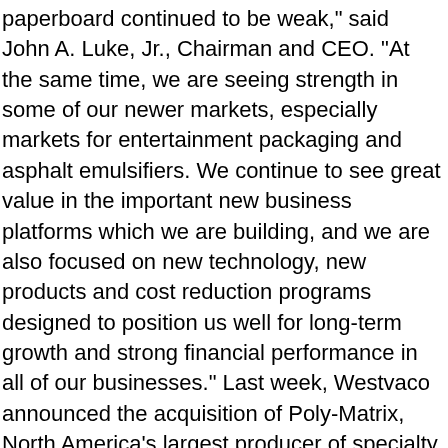paperboard continued to be weak," said John A. Luke, Jr., Chairman and CEO. "At the same time, we are seeing strength in some of our newer markets, especially markets for entertainment packaging and asphalt emulsifiers. We continue to see great value in the important new business platforms which we are building, and we are also focused on new technology, new products and cost reduction programs designed to position us well for long-term growth and strong financial performance in all of our businesses." Last week, Westvaco announced the acquisition of Poly-Matrix, North America's largest producer of specialty plastic components for DVD, CD and other entertainment packaging. Poly-Matrix provides a U.S. base to leverage the capabilities of Westvaco's injection-molded plastic packaging operations in Europe, which manufactures and licenses the world's best selling standard DVD package. "In addition to increasing Westvaco's participation in rapidly growing